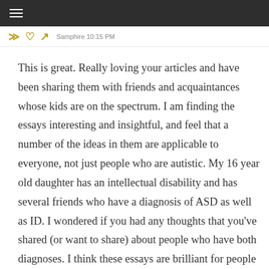≡
≫ ♡ ↗  Samphire 10:15 PM
This is great. Really loving your articles and have been sharing them with friends and acquaintances whose kids are on the spectrum. I am finding the essays interesting and insightful, and feel that a number of the ideas in them are applicable to everyone, not just people who are autistic. My 16 year old daughter has an intellectual disability and has several friends who have a diagnosis of ASD as well as ID. I wondered if you had any thoughts that you've shared (or want to share) about people who have both diagnoses. I think these essays are brilliant for people with Asperger's or